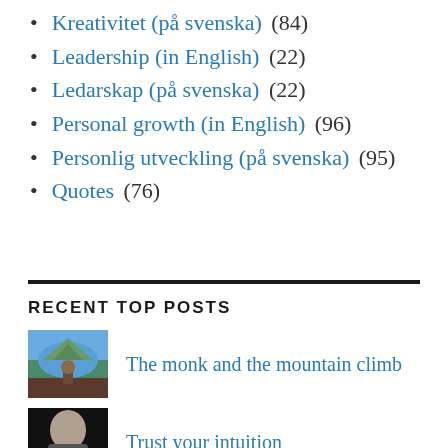Kreativitet (på svenska) (84)
Leadership (in English) (22)
Ledarskap (på svenska) (22)
Personal growth (in English) (96)
Personlig utveckling (på svenska) (95)
Quotes (76)
RECENT TOP POSTS
The monk and the mountain climb
Trust your intuition
Akbar and Birbal riddles